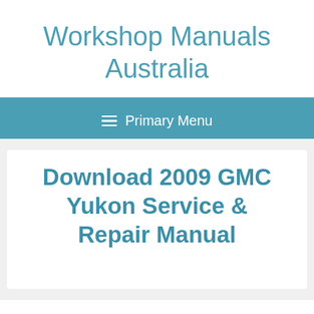Workshop Manuals Australia
≡ Primary Menu
Download 2009 GMC Yukon Service & Repair Manual